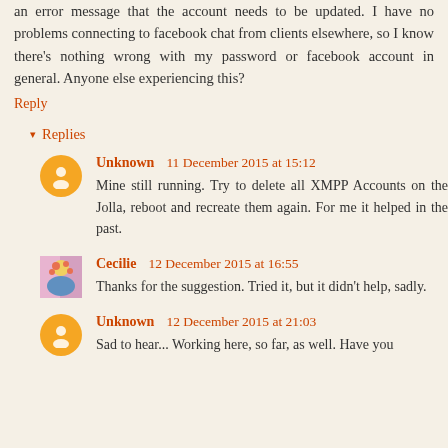an error message that the account needs to be updated. I have no problems connecting to facebook chat from clients elsewhere, so I know there's nothing wrong with my password or facebook account in general. Anyone else experiencing this?
Reply
▾ Replies
Unknown  11 December 2015 at 15:12
Mine still running. Try to delete all XMPP Accounts on the Jolla, reboot and recreate them again. For me it helped in the past.
Cecilie  12 December 2015 at 16:55
Thanks for the suggestion. Tried it, but it didn't help, sadly.
Unknown  12 December 2015 at 21:03
Sad to hear... Working here, so far, as well. Have you